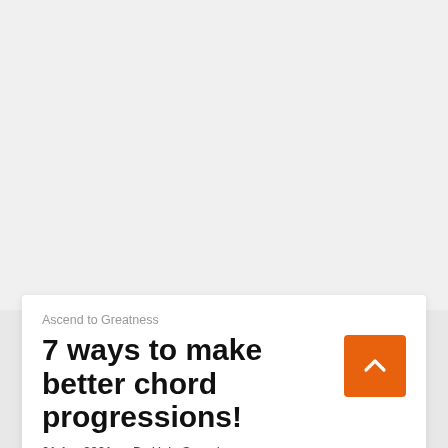[Figure (other): Large blank/grey image area filling the top portion of the page]
Ascend to Greatness
7 ways to make better chord progressions!
01 Apr 2021 · By Halo Sounds